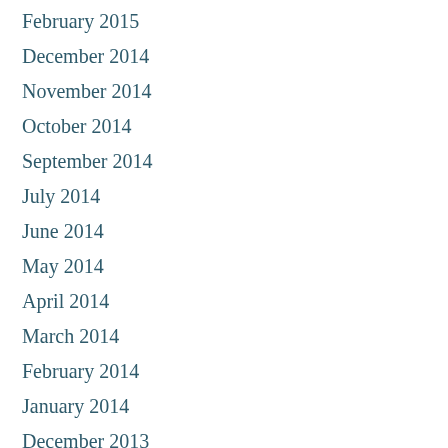February 2015
December 2014
November 2014
October 2014
September 2014
July 2014
June 2014
May 2014
April 2014
March 2014
February 2014
January 2014
December 2013
November 2013